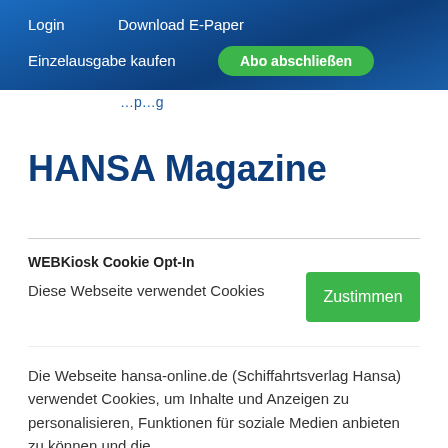Login   Download E-Paper   Einzelausgabe kaufen   Abo abschließen
HANSA Magazine
WEBKiosk Cookie Opt-In
Diese Webseite verwendet Cookies
Die Webseite hansa-online.de (Schiffahrtsverlag Hansa) verwendet Cookies, um Inhalte und Anzeigen zu personalisieren, Funktionen für soziale Medien anbieten zu können und die